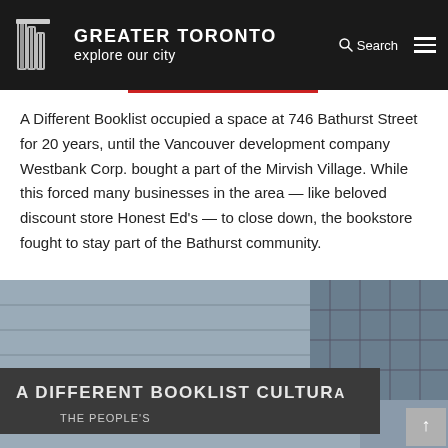GREATER TORONTO explore our city
A Different Booklist occupied a space at 746 Bathurst Street for 20 years, until the Vancouver development company Westbank Corp. bought a part of the Mirvish Village. While this forced many businesses in the area — like beloved discount store Honest Ed's — to close down, the bookstore fought to stay part of the Bathurst community.
[Figure (photo): Exterior photo of a modern building showing signage reading 'A DIFFERENT BOOKLIST CULTURAL' and 'THE PEOPLE'S...' on a dark grey facade with glass windows above.]